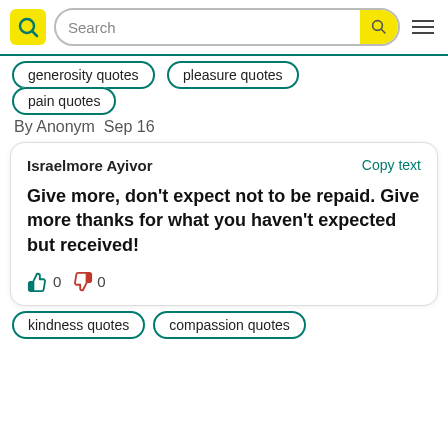Search
generosity quotes
pleasure quotes
pain quotes
By Anonym  Sep 16
Israelmore Ayivor
Copy text
Give more, don't expect not to be repaid. Give more thanks for what you haven't expected but received!
0  0
kindness quotes
compassion quotes